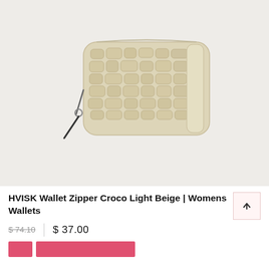[Figure (photo): Beige croco-embossed zipper wallet (HVISK brand) on a light gray background. The wallet has a rounded rectangular shape with crocodile-textured faux leather surface and a silver zipper with a black zipper pull.]
HVISK Wallet Zipper Croco Light Beige | Womens Wallets
$ 74.10   $ 37.00